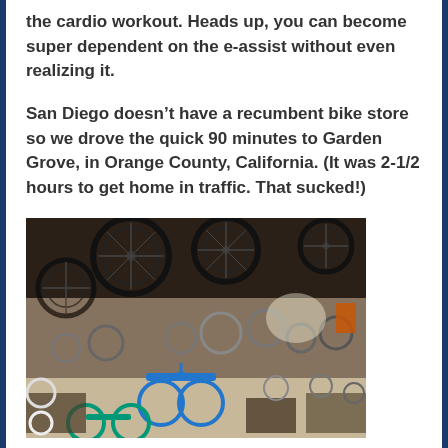the cardio workout. Heads up, you can become super dependent on the e-assist without even realizing it.
San Diego doesn't have a recumbent bike store so we drove the quick 90 minutes to Garden Grove, in Orange County, California. (It was 2-1/2 hours to get home in traffic. That sucked!)
[Figure (photo): Interior of a crowded bicycle store in Garden Grove, showing many bicycles and wheels hanging from the ceiling and walls, with bikes densely packed throughout the store floor.]